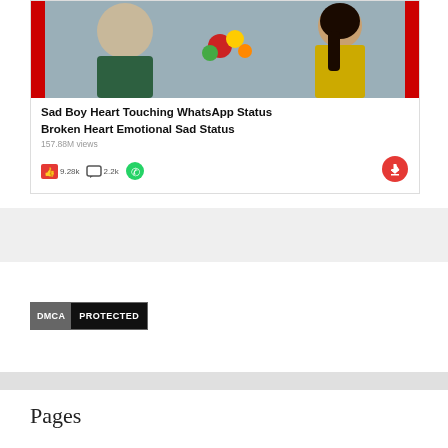[Figure (screenshot): Screenshot of a video card showing 'Sad Boy Heart Touching WhatsApp Status Broken Heart Emotional Sad Status' with 157.88M views, 9.28k likes, 2.2k comments, WhatsApp share icon, and a red download button. The card has a thumbnail image at top with red side bars and figures of a man and woman.]
[Figure (logo): DMCA PROTECTED badge with gray-left 'DMCA' and black-right 'PROTECTED' text on dark background blocks.]
Pages